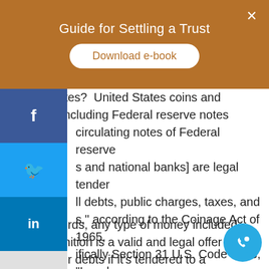Guide for Settling a Trust
United States? United States coins and currency [including Federal reserve notes circulating notes of Federal reserve s and national banks] are legal tender ll debts, public charges, taxes, and s," according to the Coinage Act of 1965, ifically Section 31 U.S. Code 5103, "Legal er."
In other words, any type of money included in that definition is a valid and legal offer of payment for debts if it's tendered to a creditor. But no federal law requires a private business, a person or organization to accept